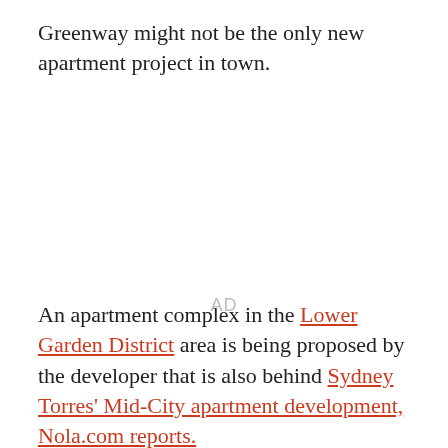Greenway might not be the only new apartment project in town.
[Figure (other): Advertisement placeholder area with 'AD' label]
An apartment complex in the Lower Garden District area is being proposed by the developer that is also behind Sydney Torres' Mid-City apartment development, Nola.com reports.